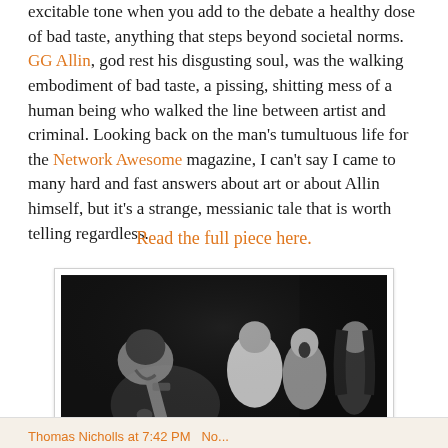excitable tone when you add to the debate a healthy dose of bad taste, anything that steps beyond societal norms. GG Allin, god rest his disgusting soul, was the walking embodiment of bad taste, a pissing, shitting mess of a human being who walked the line between artist and criminal. Looking back on the man's tumultuous life for the Network Awesome magazine, I can't say I came to many hard and fast answers about art or about Allin himself, but it's a strange, messianic tale that is worth telling regardless.
Read the full piece here.
[Figure (photo): Black and white photograph of GG Allin performing on stage, bent over a microphone, with tattoos visible on his arm and body, with several other people visible behind him in the background.]
Thomas Nicholls at 7:42 PM No...